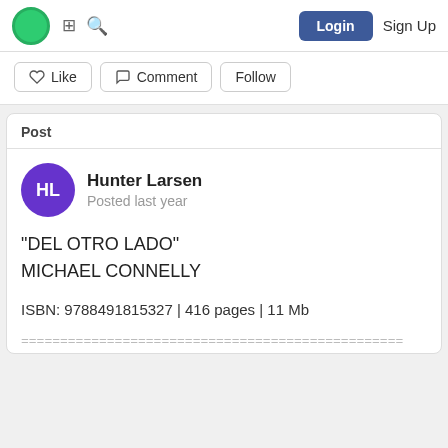Login  Sign Up
[Figure (screenshot): Social platform action buttons: Like, Comment, Follow]
Post
Hunter Larsen
Posted last year
"DEL OTRO LADO"
MICHAEL CONNELLY
ISBN: 9788491815327 | 416 pages | 11 Mb
=================================================